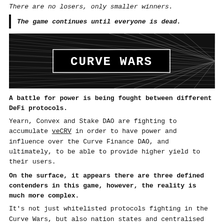There are no losers, only smaller winners.
The game continues until everyone is dead.
[Figure (illustration): Dark background grid/net graphic with white text reading 'Curve Wars' in a bold pixel/retro font inside a black rectangle]
A battle for power is being fought between different DeFi protocols.
Yearn, Convex and Stake DAO are fighting to accumulate veCRV in order to have power and influence over the Curve Finance DAO, and ultimately, to be able to provide higher yield to their users.
On the surface, it appears there are three defined contenders in this game, however, the reality is much more complex.
It's not just whitelisted protocols fighting in the Curve Wars, but also nation states and centralised entities, who wish to incentivise their currencies or projects.